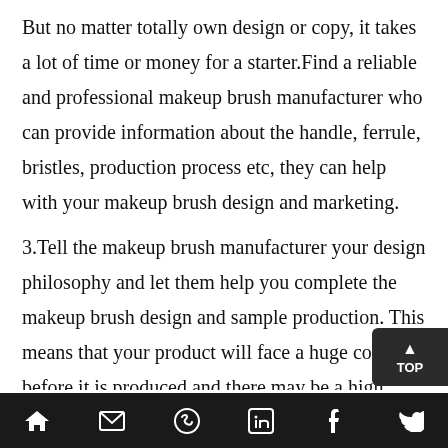But no matter totally own design or copy, it takes a lot of time or money for a starter.Find a reliable and professional makeup brush manufacturer who can provide information about the handle, ferrule, bristles, production process etc, they can help with your makeup brush design and marketing.
3.Tell the makeup brush manufacturer your design philosophy and let them help you complete the makeup brush design and sample production. This means that your product will face a huge cost before it is produced and there may be a high MOQ for later production.
Navigation bar with home, mail, WhatsApp, LinkedIn, Facebook, Twitter icons